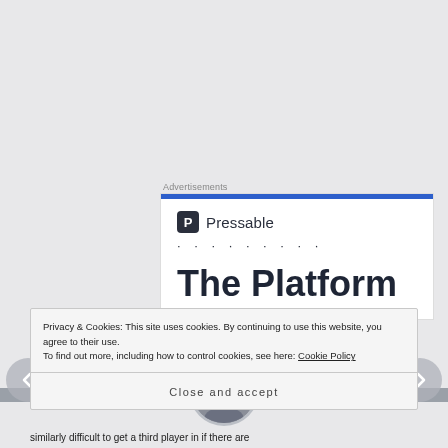Advertisements
[Figure (logo): Pressable logo with shield icon and dotted line, followed by bold headline 'The Platform']
[Figure (photo): Circular avatar photo of a person with glasses]
Privacy & Cookies: This site uses cookies. By continuing to use this website, you agree to their use.
To find out more, including how to control cookies, see here: Cookie Policy
Close and accept
similarly difficult to get a third player in if there are